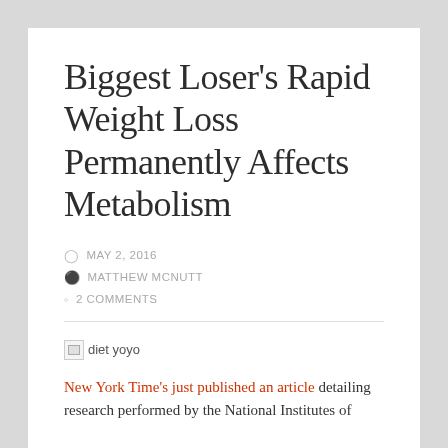Biggest Loser's Rapid Weight Loss Permanently Affects Metabolism
MAY 2, 2016
MATTHEW MCNUTT
2 COMMENTS
[Figure (photo): Broken image placeholder with alt text 'diet yoyo']
New York Time's just published an article detailing research performed by the National Institutes of